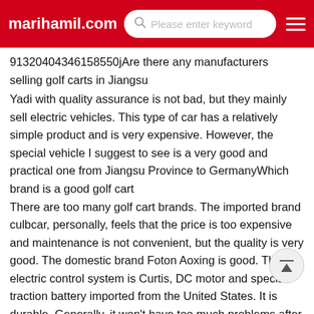marihamil.com | Please enter keyword
91320404346158550jAre there any manufacturers selling golf carts in Jiangsu
Yadi with quality assurance is not bad, but they mainly sell electric vehicles. This type of car has a relatively simple product and is very expensive. However, the special vehicle I suggest to see is a very good and practical one from Jiangsu Province to GermanyWhich brand is a good golf cart
There are too many golf cart brands. The imported brand culbcar, personally, feels that the price is too expensive and maintenance is not convenient, but the quality is very good. The domestic brand Foton Aoxing is good. The electric control system is Curtis, DC motor and special traction battery imported from the United States. It is durable. Generally, it won't have too much problems after using it 3 yearsWhich brand of golf cart has the best quality
This is a beauty pageant! American ClubCar is still very...